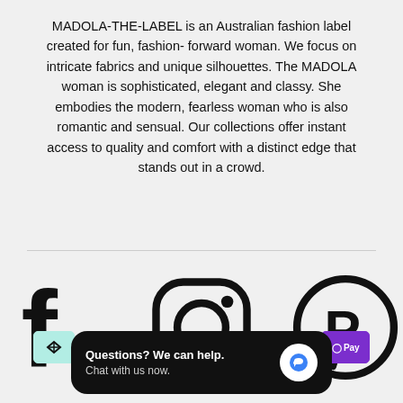MADOLA-THE-LABEL is an Australian fashion label created for fun, fashion- forward woman. We focus on intricate fabrics and unique silhouettes. The MADOLA woman is sophisticated, elegant and classy. She embodies the modern, fearless woman who is also romantic and sensual. Our collections offer instant access to quality and comfort with a distinct edge that stands out in a crowd.
[Figure (infographic): Social media icons: Facebook, Instagram, Pinterest]
[Figure (infographic): Payment method logos: Afterpay, Visa, Mastercard, Amex, PayPal, Google Pay, Apple Pay (Shop Pay)]
COPYRIGHT MADOLA-THE-LABEL •
[Figure (screenshot): Chat widget overlay: 'Questions? We can help. Chat with us now.' with chat bubble icon]